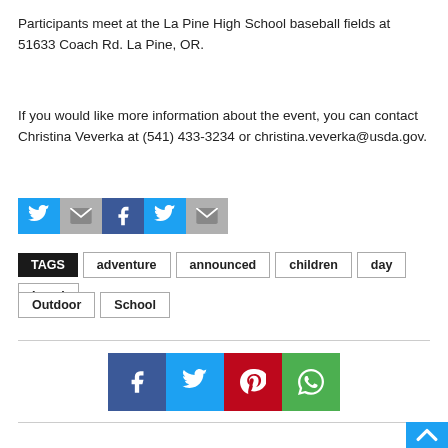Participants meet at the La Pine High School baseball fields at 51633 Coach Rd. La Pine, OR.
If you would like more information about the event, you can contact Christina Veverka at (541) 433-3234 or christina.veverka@usda.gov.
[Figure (infographic): Row of social sharing icons: Twitter (blue), Email (grey), Facebook (blue), Twitter (blue), Email (grey)]
TAGS  adventure  announced  children  day  Local  Outdoor  School
[Figure (infographic): Row of four social share buttons: Facebook (dark blue), Twitter (light blue), Pinterest (red), WhatsApp (green)]